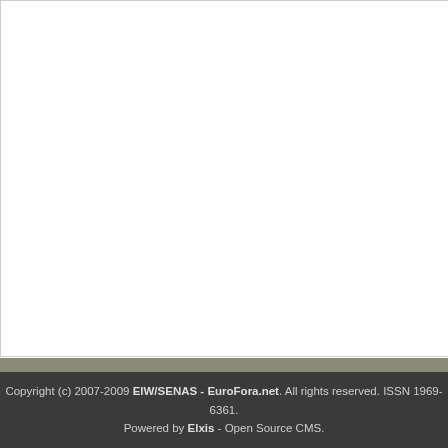Lukashenko as E... (0) by WKalina
Why NATO in Ukraine,... (0) by Geopol
Afghanistan key : ... (0) by Thunderbird
Anti-Pass Demonstrat... (0) by Aurora
Veran - Fioraso : Mê... (1) by JohnsonE
Copyright (c) 2007-2009 EIW/SENAS - EuroFora.net. All rights reserved. ISSN 1969-6361. Powered by Elxis - Open Source CMS.